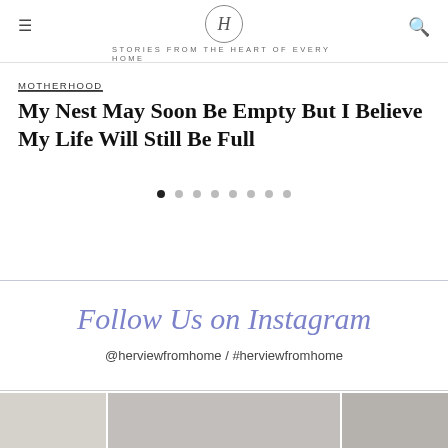H — STORIES FROM THE HEART OF EVERY HOME
MOTHERHOOD
My Nest May Soon Be Empty But I Believe My Life Will Still Be Full
@herviewfromhome / #herviewfromhome
Follow Us on Instagram
[Figure (photo): Three thumbnail images at bottom of page as Instagram gallery preview]